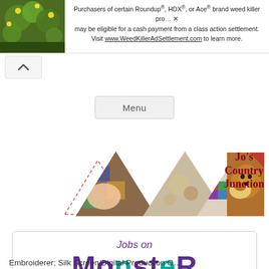[Figure (screenshot): Ad banner with plant photo on left and text about Roundup/HDX/Ace class action settlement. Visit www.WeedKillerAdSettlement.com to learn more.]
Purchasers of certain Roundup®, HDX®, or Ace® brand weed killer pro… may be eligible for a cash payment from a class action settlement. Visit www.WeedKillerAdSettlement.com to learn more.
[Figure (screenshot): Collapse/chevron-up button]
[Figure (screenshot): Menu button]
[Figure (logo): Jo's Country Junction logo with triangular photo collage of child on quilt, embroidery fabric, colorful quilt, and a beagle dog, with Jo's Country Junction text in red/dark red on right]
[Figure (logo): Jobs on Monster advertisement box with purple and teal Monster logo]
Jobs on
MONSTER
Embroiderer; Silk Screen/Digital Production O…